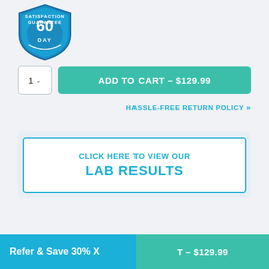[Figure (logo): 60 Day Satisfaction Guarantee shield badge in blue and white]
ADD TO CART – $129.99
HASSLE-FREE RETURN POLICY >>
CLICK HERE TO VIEW OUR LAB RESULTS
Refer & Save 30% X
T – $129.99